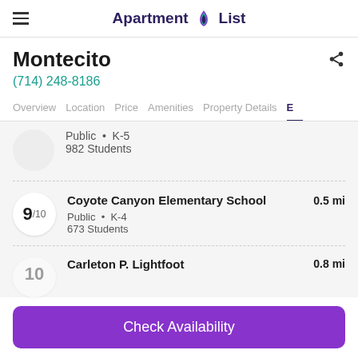Apartment List
Montecito
(714) 248-8186
Overview
Location
Price
Amenities
Property Details
Public • K-5
982 Students
Coyote Canyon Elementary School
Public • K-4
673 Students
0.5 mi
Carleton P. Lightfoot
0.8 mi
Check Availability